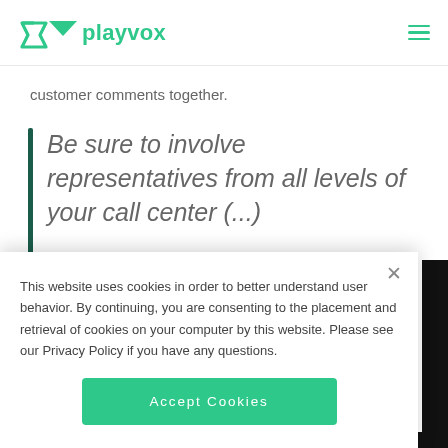playvox
customer comments together.
Be sure to involve representatives from all levels of your call center (…
This website uses cookies in order to better understand user behavior. By continuing, you are consenting to the placement and retrieval of cookies on your computer by this website. Please see our Privacy Policy if you have any questions.
Accept Cookies